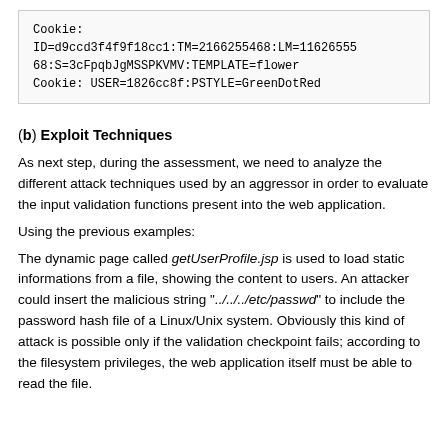Cookie:
ID=d9ccd3f4f9f18cc1:TM=2166255468:LM=11626555 68:S=3cFpqbJgMSSPKVMV:TEMPLATE=flower
Cookie: USER=1826cc8f:PSTYLE=GreenDotRed
(b) Exploit Techniques
As next step, during the assessment, we need to analyze the different attack techniques used by an aggressor in order to evaluate the input validation functions present into the web application.
Using the previous examples:
The dynamic page called getUserProfile.jsp is used to load static informations from a file, showing the content to users. An attacker could insert the malicious string "../../../etc/passwd" to include the password hash file of a Linux/Unix system. Obviously this kind of attack is possible only if the validation checkpoint fails; according to the filesystem privileges, the web application itself must be able to read the file.